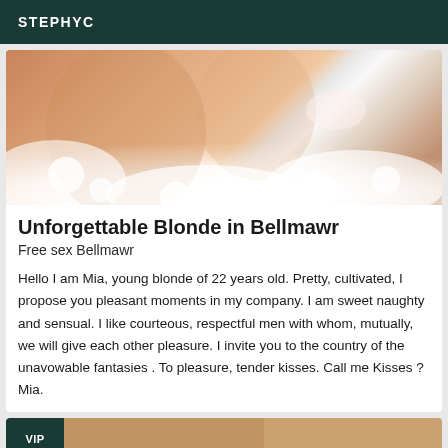STEPHYC
[Figure (photo): Close-up photo of a person in a bubble bath, surrounded by white foam bubbles]
Unforgettable Blonde in Bellmawr
Free sex Bellmawr
Hello I am Mia, young blonde of 22 years old. Pretty, cultivated, I propose you pleasant moments in my company. I am sweet naughty and sensual. I like courteous, respectful men with whom, mutually, we will give each other pleasure. I invite you to the country of the unavowable fantasies . To pleasure, tender kisses. Call me Kisses ? Mia.
[Figure (photo): Partial view of a second listing with VIP badge, showing another photo]